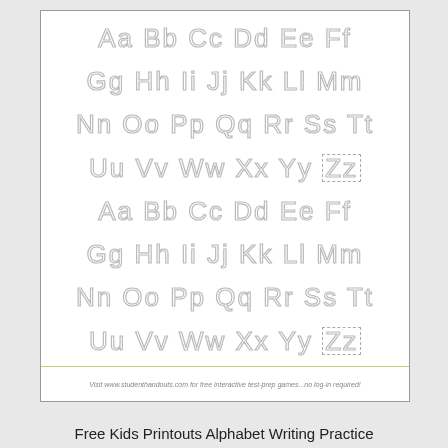[Figure (illustration): Alphabet tracing worksheet with dotted letters for writing practice. Shows uppercase and lowercase letter pairs Aa-Zz repeated twice, with dotted/dashed styling for tracing. Footer with website URL. Bottom title reads 'Free Kids Printouts Alphabet Writing Practice'.]
Visit www.studenthandouts.com for free interactive test-prep games...no log-in required!
Free Kids Printouts Alphabet Writing Practice